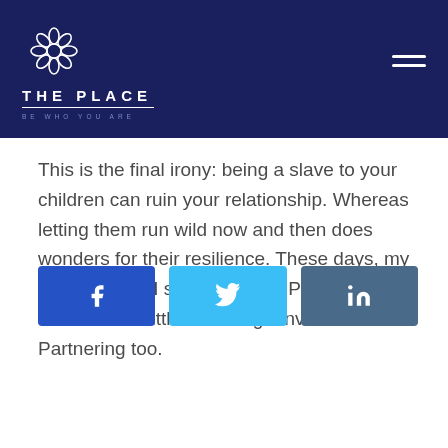THE PLACE — BE WHO YOU ARE
This is the final irony: being a slave to your children can ruin your relationship. Whereas letting them run wild now and then does wonders for their resilience. These days, my husband and I still have an HIP marriage — but there's a little more High Investment Partnering too.
[Figure (other): Social share buttons: Facebook, Twitter, LinkedIn]